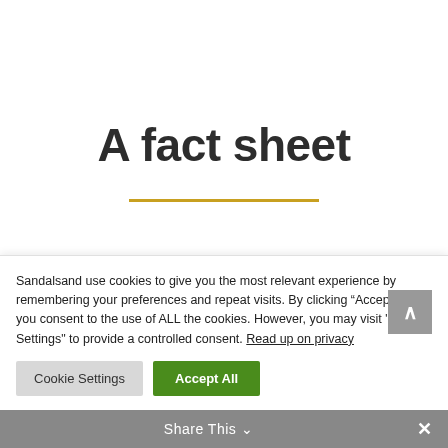A fact sheet
Sandalsand use cookies to give you the most relevant experience by remembering your preferences and repeat visits. By clicking “Accept All”, you consent to the use of ALL the cookies. However, you may visit "Cookie Settings" to provide a controlled consent. Read up on privacy
Cookie Settings | Accept All
Share This ∨  ×